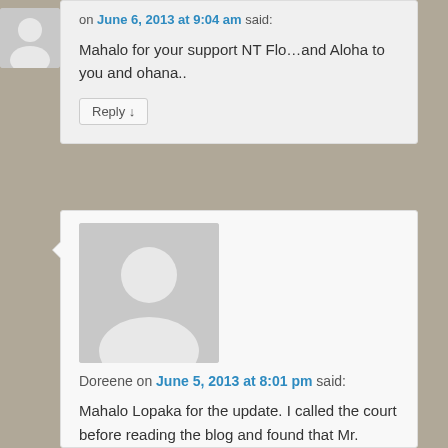on June 6, 2013 at 9:04 am said:
Mahalo for your support NT Flo…and Aloha to you and ohana..
Reply ↓
Doreene on June 5, 2013 at 8:01 pm said:
Mahalo Lopaka for the update. I called the court before reading the blog and found that Mr. Kaiama filed a continum for your case and that it has been moved to 7/24/13 at 8:30 a.m.
Reply ↓